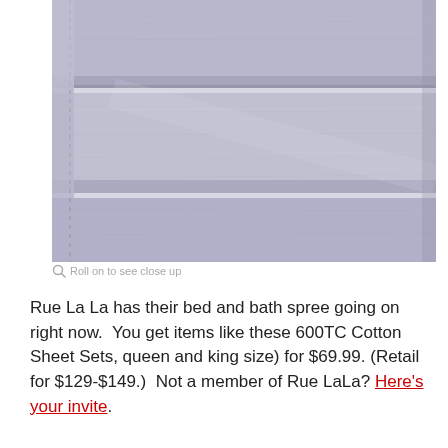[Figure (photo): Close-up photo of folded grey/blue 600TC cotton sheet sets stacked in three layers, showing fabric texture and stitching on the left edge.]
Roll on to see close up
Rue La La has their bed and bath spree going on right now.  You get items like these 600TC Cotton Sheet Sets, queen and king size) for $69.99. (Retail for $129-$149.)  Not a member of Rue LaLa? Here's your invite.